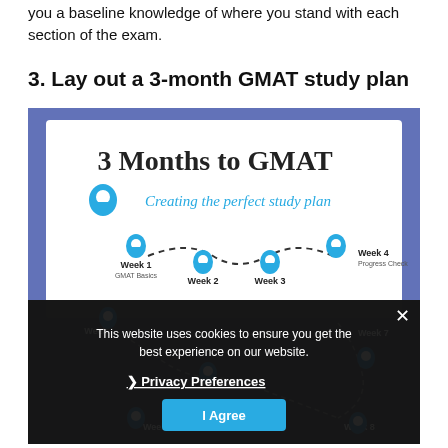you a baseline knowledge of where you stand with each section of the exam.
3. Lay out a 3-month GMAT study plan
[Figure (infographic): Infographic titled '3 Months to GMAT – Creating the perfect study plan' showing a map-style path with location pins for Week 1 (GMAT Basics), Week 2, Week 3, Week 4 (Progress Check), and further weeks (Week 5, Week 7, Week 8, Week 10, Week 12) connected by a dashed curved line, on a blue and white background. A dark cookie-consent overlay covers the lower half, stating 'This website uses cookies to ensure you get the best experience on our website.' with a Privacy Preferences link and an I Agree button.]